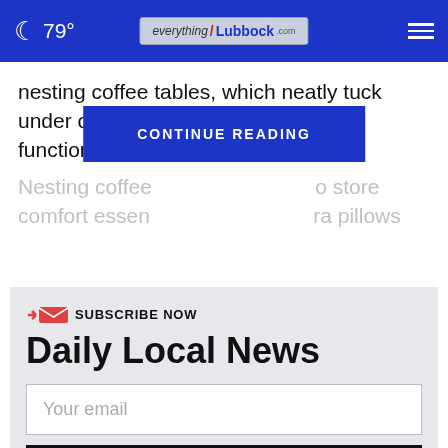🌙 79° | everythingLubbock.com
nesting coffee tables, which neatly tuck under one another, offer enhanced functionality and style.
Nesting coffee ... o store comfort essen... ra pillows
[Figure (screenshot): CONTINUE READING button overlay in blue]
SUBSCRIBE NOW
Daily Local News
Your email
SIGN UP NOW